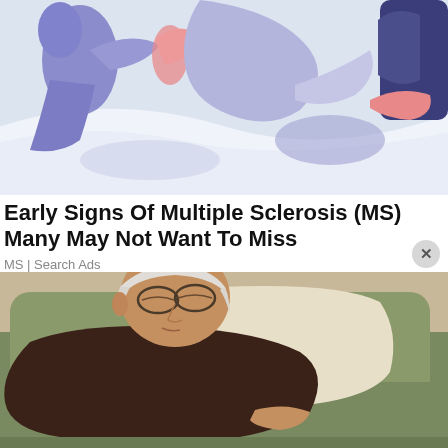[Figure (illustration): Colorful illustration of abstract figures/people in purple, pink, and blue tones, appearing to be resting or in motion against a light background.]
Early Signs Of Multiple Sclerosis (MS) Many May Not Want To Miss
MS | Search Ads
[Figure (photo): Photograph of an elderly man with white hair and glasses, wearing a dark brown sweater over a plaid shirt, sleeping in a green armchair with a beige pillow behind him.]